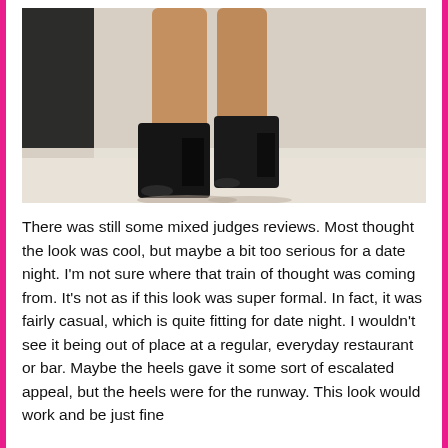[Figure (photo): Photo of a model's legs wearing black high-heel platform shoes on a runway, light background with dark strip on left]
There was still some mixed judges reviews. Most thought the look was cool, but maybe a bit too serious for a date night. I'm not sure where that train of thought was coming from. It's not as if this look was super formal. In fact, it was fairly casual, which is quite fitting for date night. I wouldn't see it being out of place at a regular, everyday restaurant or bar. Maybe the heels gave it some sort of escalated appeal, but the heels were for the runway. This look would work and be just fine